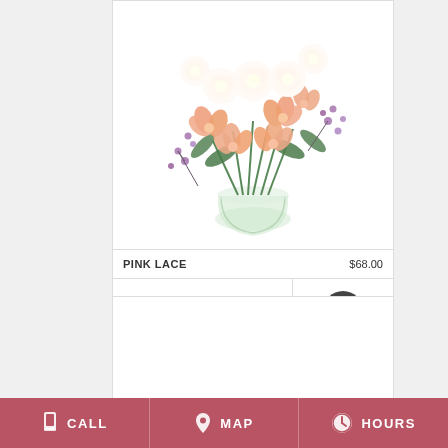[Figure (photo): Flower bouquet called Pink Lace: white roses, peach alstroemeria, and purple waxflower in a clear glass vase]
PINK LACE    $68.00
BUY NOW
[Figure (other): Info icon button (dark circle with white 'i')]
[Figure (other): Second product card placeholder (empty white box)]
CALL   MAP   HOURS